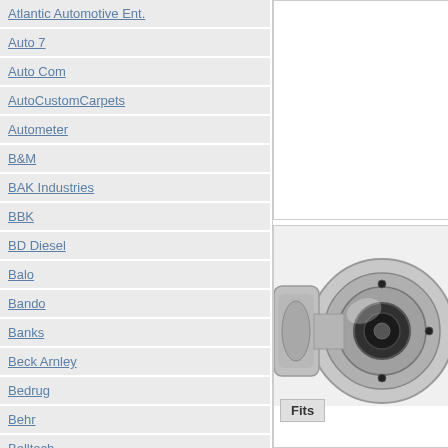Atlantic Automotive Ent.
Auto 7
Auto Com
AutoCustomCarpets
Autometer
B&M
BAK Industries
BBK
BD Diesel
Balo
Bando
Banks
Beck Arnley
Bedrug
Behr
Belltech
Benchmark
Bendix
Bentley
Beru
[Figure (photo): Partial view of a turbocharger or automotive engine component, silver/chrome colored, circular with black center]
Fits